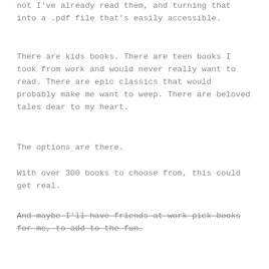not I've already read them, and turning that into a .pdf file that's easily accessible.
There are kids books. There are teen books I took from work and would never really want to read. There are epic classics that would probably make me want to weep. There are beloved tales dear to my heart.
The options are there.
With over 300 books to choose from, this could get real.
And maybe I'll have friends at work pick books for me, to add to the fun.